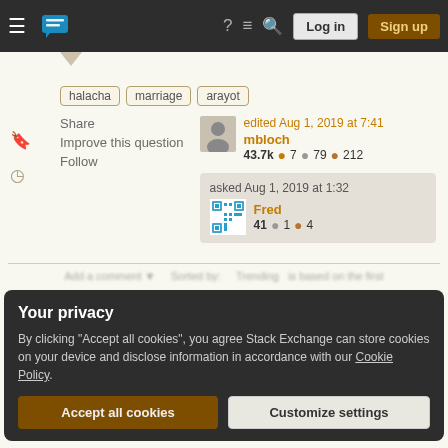[Figure (screenshot): Stack Exchange navigation bar with hamburger menu, logo, help icon, chat icon, search icon, Log in button, and Sign up button]
halacha
marriage
arayot
Share
Improve this question
Follow
edited Aug 1, 2019 at 7:41
mbloch
43.7k ● 7 ○ 79 ● 212
asked Aug 1, 2019 at 1:32
Fred
41 ○ 1 ● 4
Your privacy
By clicking "Accept all cookies", you agree Stack Exchange can store cookies on your device and disclose information in accordance with our Cookie Policy.
Accept all cookies
Customize settings